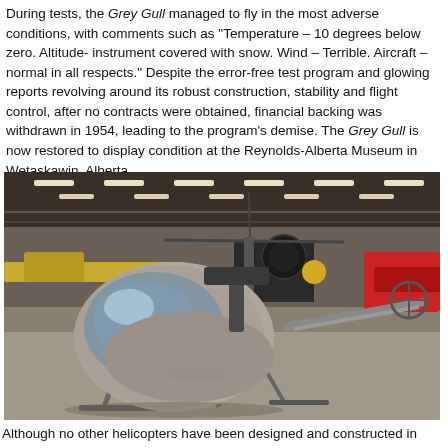During tests, the Grey Gull managed to fly in the most adverse conditions, with comments such as "Temperature – 10 degrees below zero. Altitude- instrument covered with snow. Wind – Terrible. Aircraft – normal in all respects." Despite the error-free test program and glowing reports revolving around its robust construction, stability and flight control, after no contracts were obtained, financial backing was withdrawn in 1954, leading to the program's demise. The Grey Gull is now restored to display condition at the Reynolds-Alberta Museum in Wetaskawin, Alberta.
[Figure (photo): Interior of an aviation museum hangar showing a vintage helicopter (the Grey Gull) in the foreground with other historic aircraft visible in the background. The helicopter has a distinctive bubble cockpit and exposed rotor mechanism.]
Although no other helicopters have been designed and constructed in Canada since the 1950s, three notable rotary and VTOL concepts have emerged as historical footnotes. The first two being...